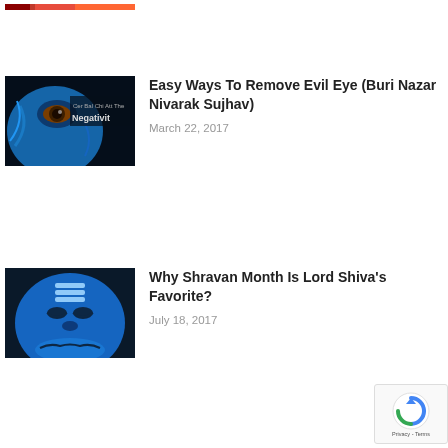[Figure (photo): Partial top thumbnail showing colorful red/orange image, cropped]
[Figure (photo): Blue-skinned figure with eye and 'Negativity' text overlay]
Easy Ways To Remove Evil Eye (Buri Nazar Nivarak Sujhav)
March 22, 2017
[Figure (photo): Blue-tinted face of Lord Shiva looking downward]
Why Shravan Month Is Lord Shiva's Favorite?
July 18, 2017